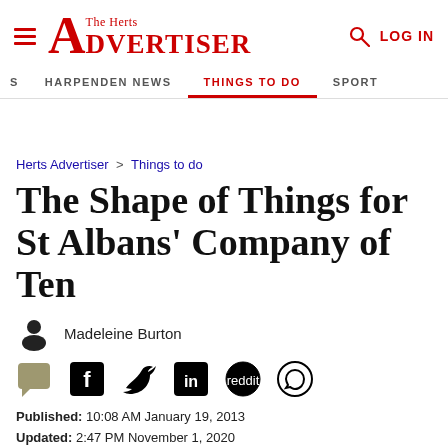The Herts Advertiser — LOG IN
HARPENDEN NEWS | THINGS TO DO | SPORT
Herts Advertiser > Things to do
The Shape of Things for St Albans' Company of Ten
Madeleine Burton
Published: 10:08 AM January 19, 2013
Updated: 2:47 PM November 1, 2020